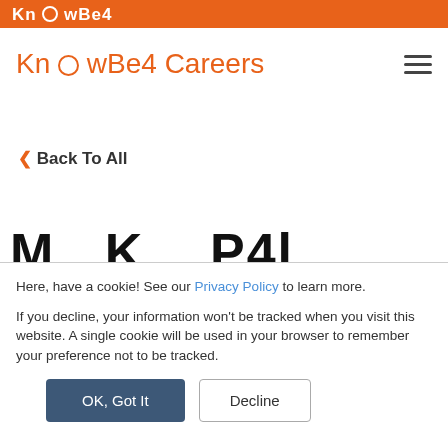KnowBe4
KnowBe4 Careers
< Back To All
M...K...P4l...
Here, have a cookie! See our Privacy Policy to learn more.

If you decline, your information won't be tracked when you visit this website. A single cookie will be used in your browser to remember your preference not to be tracked.